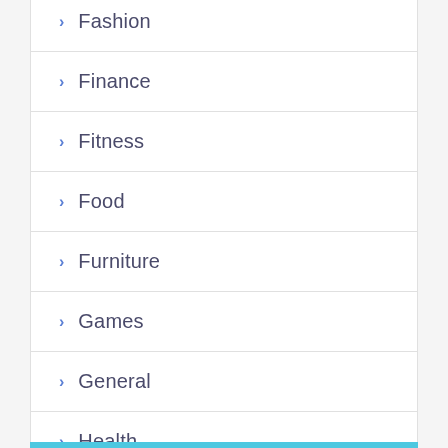Fashion
Finance
Fitness
Food
Furniture
Games
General
Health
Home